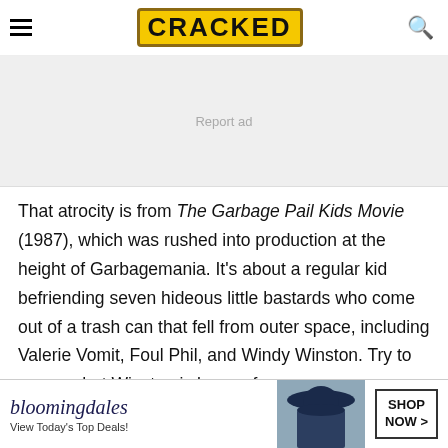CRACKED
[Figure (other): Advertisement placeholder with 'Report ad' text]
That atrocity is from The Garbage Pail Kids Movie (1987), which was rushed into production at the height of Garbagemania. It's about a regular kid befriending seven hideous little bastards who come out of a trash can that fell from outer space, including Valerie Vomit, Foul Phil, and Windy Winston. Try to guess what Winston is known for.
[Figure (other): Bloomingdale's advertisement banner with logo, tagline 'View Today's Top Deals!', woman with hat image, and 'SHOP NOW >' button]